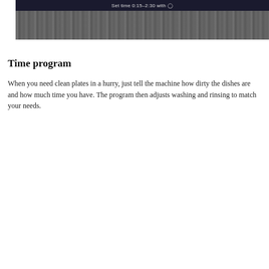[Figure (screenshot): Display screen showing 'Set time 0:15-2:30 with clock icon' text on dark background, with wood panel below]
Time program
When you need clean plates in a hurry, just tell the machine how dirty the dishes are and how much time you have. The program then adjusts washing and rinsing to match your needs.
[Figure (photo): Close-up photo of the interior of a dishwasher showing stainless steel walls, rack rails, and bottom basin]